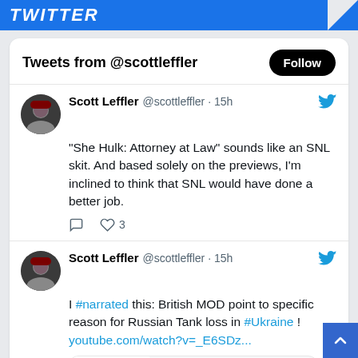TWITTER
Tweets from @scottleffler
Scott Leffler @scottleffler · 15h
"She Hulk: Attorney at Law" sounds like an SNL skit. And based solely on the previews, I'm inclined to think that SNL would have done a better job.
Scott Leffler @scottleffler · 15h
I #narrated this: British MOD point to specific reason for Russian Tank loss in #Ukraine ! youtube.com/watch?v=_E6SDz...
[Figure (screenshot): YouTube link preview showing play button and text 'youtube.com / British MOD point to']